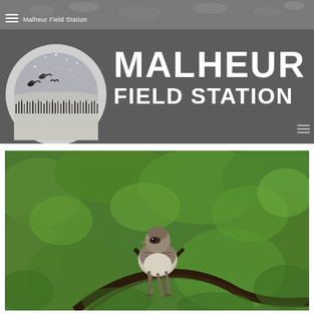[Figure (logo): Malheur Field Station website screenshot showing the organization logo (circular black and white image with birds flying over a wetland landscape under a starry sky) and bold white text 'MALHEUR FIELD STATION' on a dark gray banner background]
[Figure (photo): Photograph of a small songbird (sparrow) perched on a branch in front of green foliage, taken at Malheur Field Station]